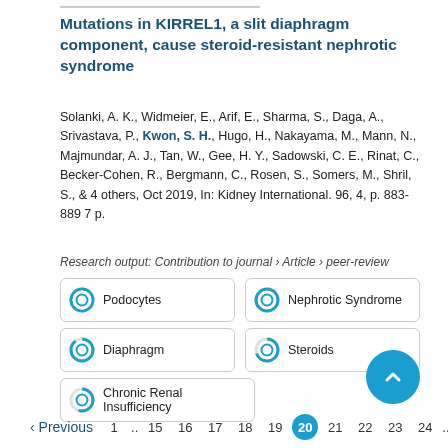Mutations in KIRREL1, a slit diaphragm component, cause steroid-resistant nephrotic syndrome
Solanki, A. K., Widmeier, E., Arif, E., Sharma, S., Daga, A., Srivastava, P., Kwon, S. H., Hugo, H., Nakayama, M., Mann, N., Majmundar, A. J., Tan, W., Gee, H. Y., Sadowski, C. E., Rinat, C., Becker-Cohen, R., Bergmann, C., Rosen, S., Somers, M., Shril, S., & 4 others, Oct 2019, In: Kidney International. 96, 4, p. 883-889 7 p.
Research output: Contribution to journal › Article › peer-review
Podocytes
Nephrotic Syndrome
Diaphragm
Steroids
Chronic Renal Insufficiency
‹ Previous  1 .. 15  16  17  18  19  20  21  22  23  24 ..